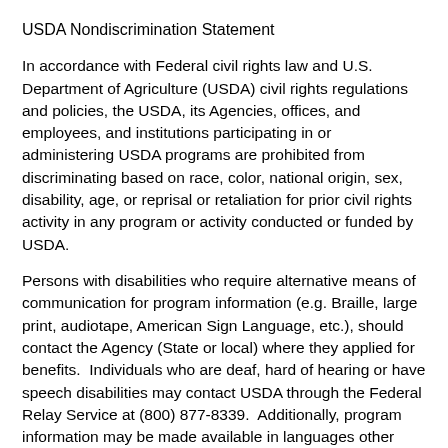USDA Nondiscrimination Statement
In accordance with Federal civil rights law and U.S. Department of Agriculture (USDA) civil rights regulations and policies, the USDA, its Agencies, offices, and employees, and institutions participating in or administering USDA programs are prohibited from discriminating based on race, color, national origin, sex, disability, age, or reprisal or retaliation for prior civil rights activity in any program or activity conducted or funded by USDA.
Persons with disabilities who require alternative means of communication for program information (e.g. Braille, large print, audiotape, American Sign Language, etc.), should contact the Agency (State or local) where they applied for benefits.  Individuals who are deaf, hard of hearing or have speech disabilities may contact USDA through the Federal Relay Service at (800) 877-8339.  Additionally, program information may be made available in languages other than English.
To file a program complaint of discrimination, complete the